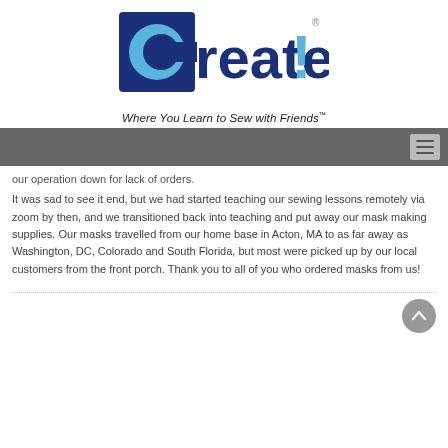[Figure (logo): Create! logo — dark blue square with light blue C shape, text 'reate!' in dark blue with light blue exclamation mark]
Where You Learn to Sew with Friends™
our operation down for lack of orders.
It was sad to see it end, but we had started teaching our sewing lessons remotely via zoom by then, and we transitioned back into teaching and put away our mask making supplies. Our masks travelled from our home base in Acton, MA to as far away as Washington, DC, Colorado and South Florida, but most were picked up by our local customers from the front porch. Thank you to all of you who ordered masks from us!